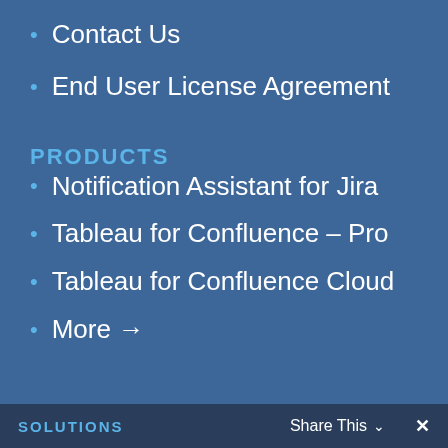Contact Us
End User License Agreement
PRODUCTS
Notification Assistant for Jira
Tableau for Confluence – Pro
Tableau for Confluence Cloud
More →
SOLUTIONS   Share This ∨   ✕